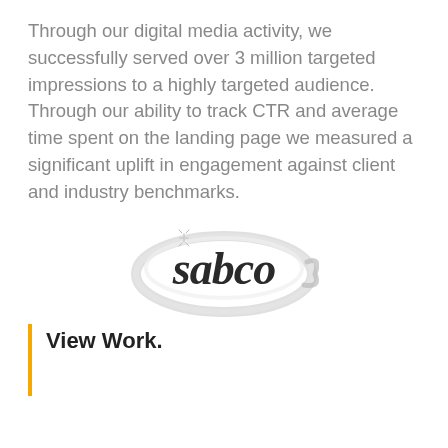Through our digital media activity, we successfully served over 3 million targeted impressions to a highly targeted audience. Through our ability to track CTR and average time spent on the landing page we measured a significant uplift in engagement against client and industry benchmarks.
[Figure (logo): Sabco brand logo — italic script lettering 'sabco' in dark gray/black with a silver oval swoosh around it and small decorative sparkle marks above]
View Work.